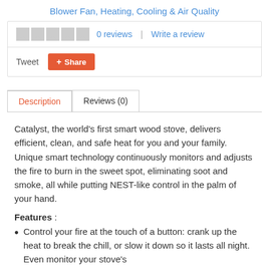Blower Fan, Heating, Cooling & Air Quality
0 reviews | Write a review
Tweet  Share
Description
Reviews (0)
Catalyst, the world's first smart wood stove, delivers efficient, clean, and safe heat for you and your family. Unique smart technology continuously monitors and adjusts the fire to burn in the sweet spot, eliminating soot and smoke, all while putting NEST-like control in the palm of your hand.
Features :
Control your fire at the touch of a button: crank up the heat to break the chill, or slow it down so it lasts all night. Even monitor your stove's